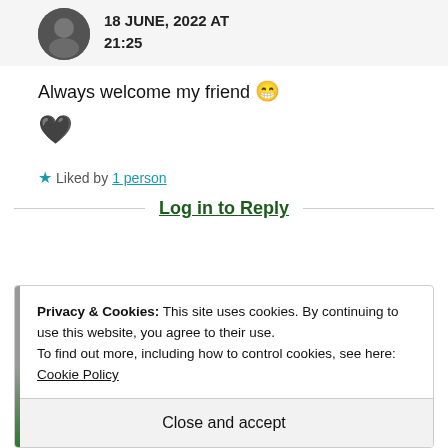18 JUNE, 2022 AT 21:25
Always welcome my friend 😁 🖤
★ Liked by 1 person
Log in to Reply
Privacy & Cookies: This site uses cookies. By continuing to use this website, you agree to their use.
To find out more, including how to control cookies, see here: Cookie Policy
Close and accept